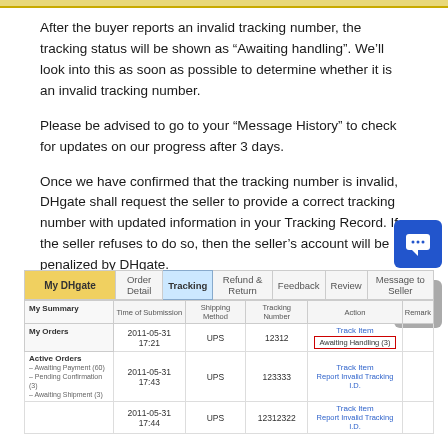After the buyer reports an invalid tracking number, the tracking status will be shown as “Awaiting handling”. We’ll look into this as soon as possible to determine whether it is an invalid tracking number.
Please be advised to go to your “Message History” to check for updates on our progress after 3 days.
Once we have confirmed that the tracking number is invalid, DHgate shall request the seller to provide a correct tracking number with updated information in your Tracking Record. If the seller refuses to do so, then the seller’s account will be penalized by DHgate.
[Figure (screenshot): DHgate website screenshot showing a tracking table with columns: Time of Submission, Shipping Method, Tracking Number, Action, Remark. Navigation tabs include Order Detail, Tracking (active), Refund & Return, Feedback, Review, Message to Seller. Rows show entries dated 2011-05-31 with UPS shipping, tracking numbers 12312, 123333, 12312322. The first row's Action cell shows 'Awaiting Handling (3)' highlighted in a red border box.]